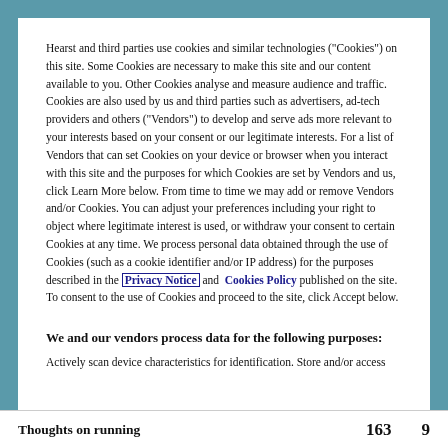Hearst and third parties use cookies and similar technologies ("Cookies") on this site. Some Cookies are necessary to make this site and our content available to you. Other Cookies analyse and measure audience and traffic. Cookies are also used by us and third parties such as advertisers, ad-tech providers and others ("Vendors") to develop and serve ads more relevant to your interests based on your consent or our legitimate interests. For a list of Vendors that can set Cookies on your device or browser when you interact with this site and the purposes for which Cookies are set by Vendors and us, click Learn More below. From time to time we may add or remove Vendors and/or Cookies. You can adjust your preferences including your right to object where legitimate interest is used, or withdraw your consent to certain Cookies at any time. We process personal data obtained through the use of Cookies (such as a cookie identifier and/or IP address) for the purposes described in the Privacy Notice and Cookies Policy published on the site. To consent to the use of Cookies and proceed to the site, click Accept below.
We and our vendors process data for the following purposes:
Actively scan device characteristics for identification. Store and/or access
Thoughts on running   163   9